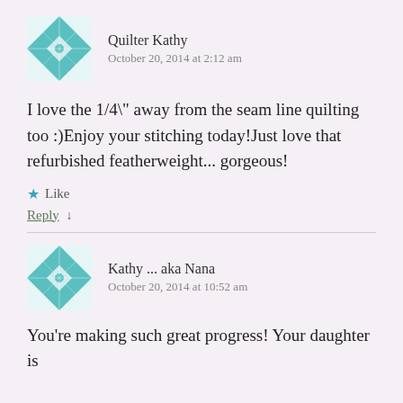[Figure (illustration): Quilter Kathy avatar: teal/green quilt block pattern icon]
Quilter Kathy
October 20, 2014 at 2:12 am
I love the 1/4" away from the seam line quilting too :)Enjoy your stitching today!Just love that refurbished featherweight... gorgeous!
★ Like
Reply ↓
[Figure (illustration): Kathy aka Nana avatar: teal/green quilt block pattern icon]
Kathy ... aka Nana
October 20, 2014 at 10:52 am
You're making such great progress! Your daughter is